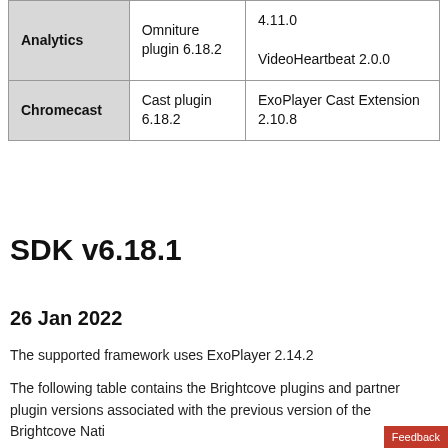|  | Plugin | Version |
| --- | --- | --- |
| Analytics | Omniture plugin 6.18.2 | 4.11.0
VideoHeartbeat 2.0.0 |
| Chromecast | Cast plugin 6.18.2 | ExoPlayer Cast Extension 2.10.8 |
SDK v6.18.1
26 Jan 2022
The supported framework uses ExoPlayer 2.14.2
The following table contains the Brightcove plugins and partner plugin versions associated with the previous version of the Brightcove Native SDK.